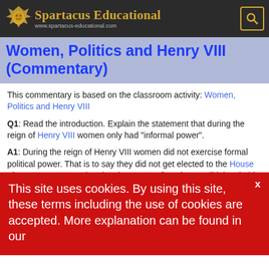Spartacus Educational www.spartacus-educational.com
Women, Politics and Henry VIII (Commentary)
This commentary is based on the classroom activity: Women, Politics and Henry VIII
Q1: Read the introduction. Explain the statement that during the reign of Henry VIII women only had "informal power".
A1: During the reign of Henry VIII women did not exercise formal political power. That is to say they did not get elected to the House of Commons or appointed to the House of Lords. Nor did they hold political posts in government or serve in courts of law. However, women could take part in political demonstrations
Q2: Use the information ... by Queen Cathe...
This site uses cookies. By using this site, these terms including the use of cookies are accepted. More explanation can be found in our